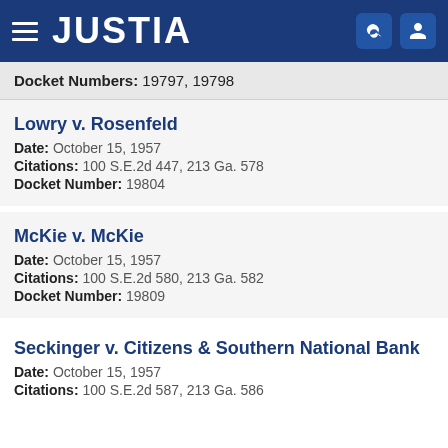JUSTIA
Docket Numbers: 19797, 19798
Lowry v. Rosenfeld
Date: October 15, 1957
Citations: 100 S.E.2d 447, 213 Ga. 578
Docket Number: 19804
McKie v. McKie
Date: October 15, 1957
Citations: 100 S.E.2d 580, 213 Ga. 582
Docket Number: 19809
Seckinger v. Citizens & Southern National Bank
Date: October 15, 1957
Citations: 100 S.E.2d 587, 213 Ga. 586